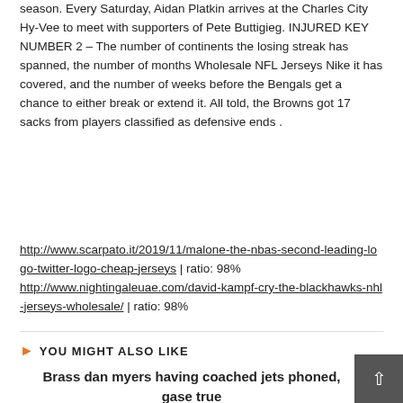season. Every Saturday, Aidan Platkin arrives at the Charles City Hy-Vee to meet with supporters of Pete Buttigieg. INJURED KEY NUMBER 2 – The number of continents the losing streak has spanned, the number of months Wholesale NFL Jerseys Nike it has covered, and the number of weeks before the Bengals get a chance to either break or extend it. All told, the Browns got 17 sacks from players classified as defensive ends .
http://www.scarpato.it/2019/11/malone-the-nbas-second-leading-logo-twitter-logo-cheap-jerseys | ratio: 98% http://www.nightingaleuae.com/david-kampf-cry-the-blackhawks-nhl-jerseys-wholesale/ | ratio: 98%
YOU MIGHT ALSO LIKE
Brass dan myers having coached jets phoned, gase true